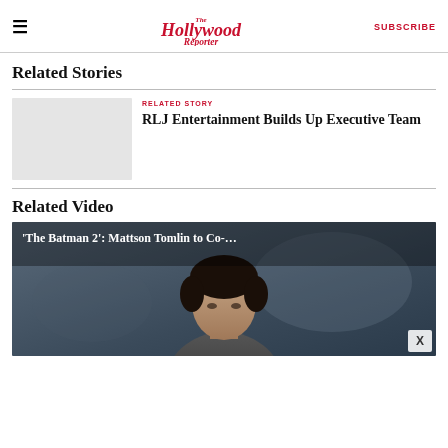The Hollywood Reporter — SUBSCRIBE
Related Stories
RELATED STORY
RLJ Entertainment Builds Up Executive Team
Related Video
[Figure (photo): Video thumbnail showing a man with dark hair against a grey background, with overlay text reading: 'The Batman 2': Mattson Tomlin to Co-…]